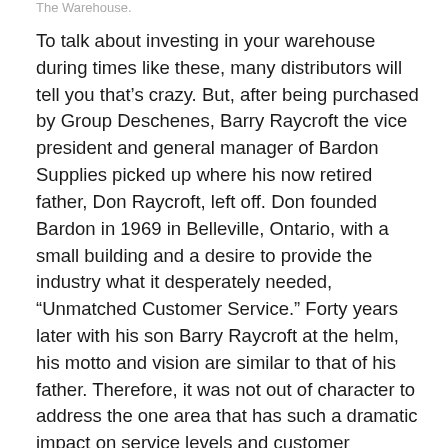The Warehouse.
To talk about investing in your warehouse during times like these, many distributors will tell you that’s crazy. But, after being purchased by Group Deschenes, Barry Raycroft the vice president and general manager of Bardon Supplies picked up where his now retired father, Don Raycroft, left off. Don founded Bardon in 1969 in Belleville, Ontario, with a small building and a desire to provide the industry what it desperately needed, “Unmatched Customer Service.” Forty years later with his son Barry Raycroft at the helm, his motto and vision are similar to that of his father. Therefore, it was not out of character to address the one area that has such a dramatic impact on service levels and customer satisfaction, “The Warehouse!”